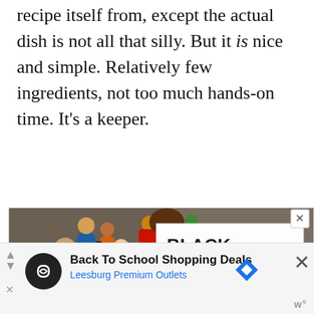recipe itself from, except the actual dish is not all that silly. But it is nice and simple. Relatively few ingredients, not too much hands-on time. It's a keeper.
[Figure (illustration): A colorful painted illustration of a crowd of diverse people at a protest. A person in a red shirt holds a large sign reading 'BLACK LIVES MATTER'. Another smaller sign in the crowd reads 'WE STAND WITH YOU'. A close button (X) appears in the top-right corner of the image.]
[Figure (screenshot): An advertisement banner at the bottom of the page for 'Back To School Shopping Deals' at 'Leesburg Premium Outlets'. Features a black circular icon with a chain-link/infinity symbol, a blue diamond navigation icon, and a close (X) button. Bottom-left shows navigation arrows and an X, bottom-right shows 'w' branding.]